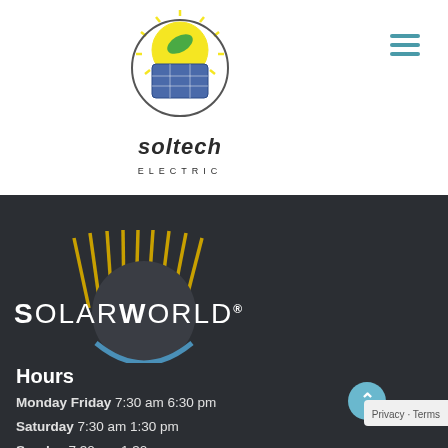[Figure (logo): Soltech Electric logo with a sun and solar panel graphic, company name below]
[Figure (logo): SolarWorld logo with golden vertical rays and blue arc on dark background]
Hours
Monday Friday 7:30 am 6:30 pm
Saturday 7:30 am 1:30 pm
Sunday 7:30 am 1:30 pm
Privacy · Terms